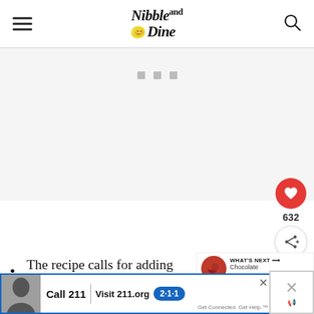Nibble and Dine
[Figure (other): Gray advertisement placeholder area with three small gray dots/squares centered]
[Figure (other): Floating social action buttons: red heart button with 632 likes count and a share button]
[Figure (other): WHAT'S NEXT banner with cherry image and text 'Chocolate Berry Mug...']
The recipe calls for adding between 2 ½ - 3 cups water to
[Figure (other): Bottom advertisement banner: Call 211 | Visit 211.og with 2-1-1 badge, with person photo on left]